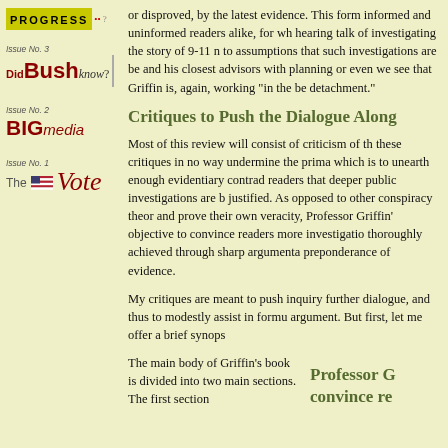[Figure (logo): Progress logo with red dots and question mark]
[Figure (logo): Issue No. 3 - Did Bush know? with photo of Bush]
[Figure (logo): Issue No. 2 - BIG MEDIA logo]
[Figure (logo): Issue No. 1 - The Vote logo with flag]
or disproved, by the latest evidence. This form informed and uninformed readers alike, for wh hearing talk of investigating the story of 9-11 n to assumptions that such investigations are be and his closest advisors with planning or even we see that Griffin is, again, working "in the be detachment."
Critiques to Push the Dialogue Along
Most of this review will consist of criticism of th these critiques in no way undermine the prima which is to unearth enough evidentiary contrad readers that deeper public investigations are b justified. As opposed to other conspiracy theor and prove their own veracity, Professor Griffin' objective to convince readers more investigatio thoroughly achieved through sharp argumenta preponderance of evidence.
My critiques are meant to push inquiry further dialogue, and thus to modestly assist in formu argument. But first, let me offer a brief synops
The main body of Griffin's book is divided into two main sections. The first section
Professor G convince re